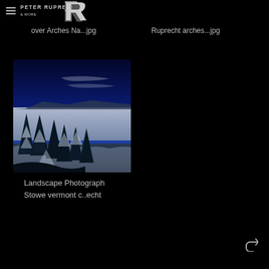PETER RUPRECHT
over Arches Na...jpg
Ruprecht arches...jpg
[Figure (photo): Winter landscape photograph showing snow-covered evergreen trees in foreground with a sea of clouds below and deep blue sky above, taken from a mountain viewpoint, appears to be Stowe Vermont]
Landscape Photograph
Stowe vermont c..echt